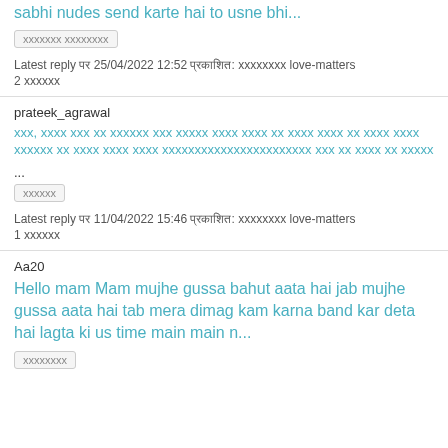sabhi nudes send karte hai to usne bhi...
xxxxxxx xxxxxxxx
Latest reply पर 25/04/2022 12:52 प्रकाशित: xxxxxxxx love-matters
2 xxxxxx
prateek_agrawal
xxx, xxxx xxx xx xxxxxx xxx xxxxx xxxx xxxx xx xxxx xxxx xx xxxx xxxx xxxxxx xx xxxx xxxx xxxx xxxxxxxxxxxxxxxxxxxxxxx xxx xx xxxx xx xxxxx ...
xxxxxx
Latest reply पर 11/04/2022 15:46 प्रकाशित: xxxxxxxx love-matters
1 xxxxxx
Aa20
Hello mam Mam mujhe gussa bahut aata hai jab mujhe gussa aata hai tab mera dimag kam karna band kar deta hai lagta ki us time main main n...
xxxxxxxx